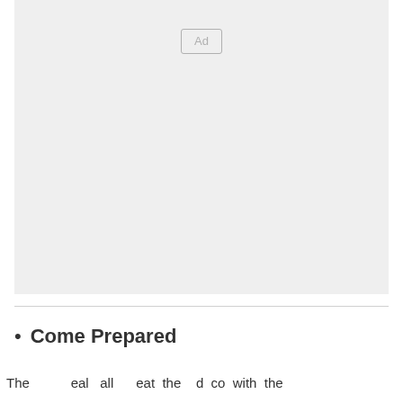[Figure (other): Advertisement placeholder box with 'Ad' label in center-top area]
Come Prepared
The very eal all eat the d co with the